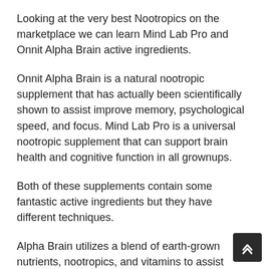Looking at the very best Nootropics on the marketplace we can learn Mind Lab Pro and Onnit Alpha Brain active ingredients.
Onnit Alpha Brain is a natural nootropic supplement that has actually been scientifically shown to assist improve memory, psychological speed, and focus. Mind Lab Pro is a universal nootropic supplement that can support brain health and cognitive function in all grownups.
Both of these supplements contain some fantastic active ingredients but they have different techniques.
Alpha Brain utilizes a blend of earth-grown nutrients, nootropics, and vitamins to assist support cognitive function. Mind Lab Pro utilizes 11 clinically-proven brain-boosting ingredients that work together to